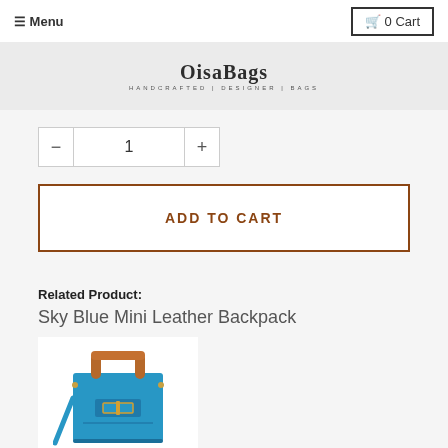☰ Menu   🛒 0 Cart
[Figure (logo): OisaBags logo with tagline HANDCRAFTED | DESIGNER | BAGS]
− 1 +
ADD TO CART
Related Product:
Sky Blue Mini Leather Backpack
[Figure (photo): Sky blue mini leather backpack with brown handle and gold buckle detail]